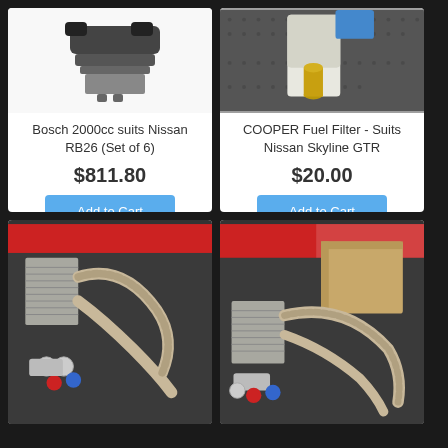[Figure (photo): Bosch 2000cc fuel injectors (set of 6), black connectors and grey body, shown on white background]
Bosch 2000cc suits Nissan RB26 (Set of 6)
$811.80
Add to Cart
[Figure (photo): COOPER Fuel Filter cylindrical canister, gold/brass colored outlet, white body, on dark perforated mat]
COOPER Fuel Filter - Suits Nissan Skyline GTR
$20.00
Add to Cart
[Figure (photo): Oil cooler kit with braided steel hoses, red and blue AN fittings, oil filter relocation adapter, on dark surface with red background]
[Figure (photo): Oil cooler kit with box, braided steel hoses, red and blue AN fittings, oil filter adapter, on dark surface with red branded background]